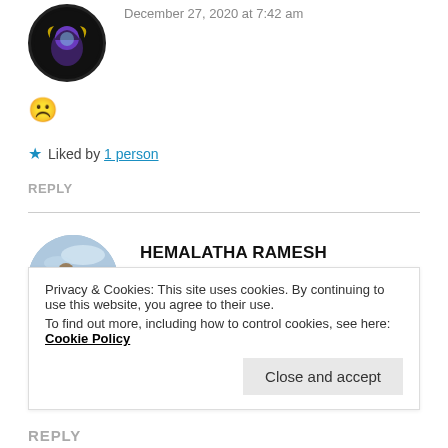December 27, 2020 at 7:42 am
☹
★ Liked by 1 person
REPLY
HEMALATHA RAMESH
December 28, 2020 at 11:11 am
Privacy & Cookies: This site uses cookies. By continuing to use this website, you agree to their use. To find out more, including how to control cookies, see here: Cookie Policy
Close and accept
REPLY